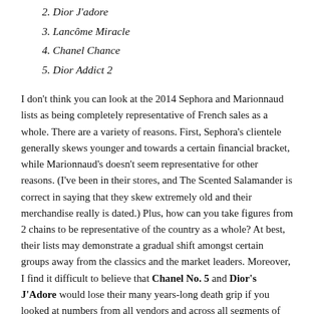2. Dior J'adore
3. Lancôme Miracle
4. Chanel Chance
5. Dior Addict 2
I don't think you can look at the 2014 Sephora and Marionnaud lists as being completely representative of French sales as a whole. There are a variety of reasons. First, Sephora's clientele generally skews younger and towards a certain financial bracket, while Marionnaud's doesn't seem representative for other reasons. (I've been in their stores, and The Scented Salamander is correct in saying that they skew extremely old and their merchandise really is dated.) Plus, how can you take figures from 2 chains to be representative of the country as a whole? At best, their lists may demonstrate a gradual shift amongst certain groups away from the classics and the market leaders. Moreover, I find it difficult to believe that Chanel No. 5 and Dior's J'Adore would lose their many years-long death grip if you looked at numbers from all vendors and across all segments of the population.